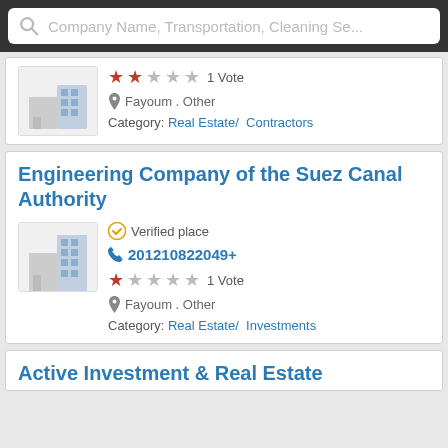[Figure (screenshot): Search bar with placeholder text 'Company Name, Transportation, Cleaning Se...']
[Figure (screenshot): Partial listing card with 2-star rating, Fayoum Other location, Real Estate/Contractors category]
Engineering Company of the Suez Canal Authority
Verified place
201210822049+
1 Vote — 1 star rating
Fayoum . Other
Category: Real Estate/ Investments
Active Investment & Real Estate